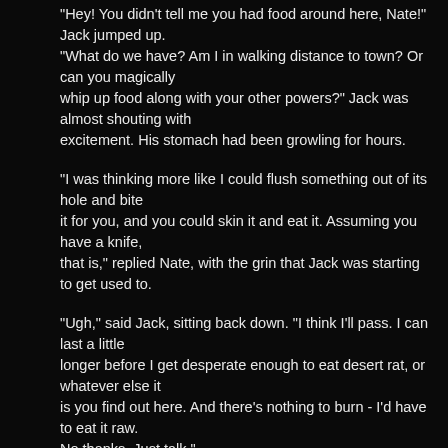"Hey! You didn't tell me you had food around here, Nate!" Jack jumped up. "What do we have? Am I in walking distance to town? Or can you magically whip up food along with your other powers?" Jack was almost shouting with excitement. His stomach had been growling for hours.
"I was thinking more like I could flush something out of its hole and bite it for you, and you could skin it and eat it. Assuming you have a knife, that is," replied Nate, with the grin that Jack was starting to get used to.
"Ugh," said Jack, sitting back down. "I think I'll pass. I can last a little longer before I get desperate enough to eat desert rat, or whatever else it is you find out here. And there's nothing to burn - I'd have to eat it raw. No thanks. Just talk."
"Ok," replied Nate, still grinning. "But I'd better hurry, before you start looking at me as food.
Nate reared back a little, looked around for a second, and then continued. "You, Jack, are sitting in the middle of the Garden of